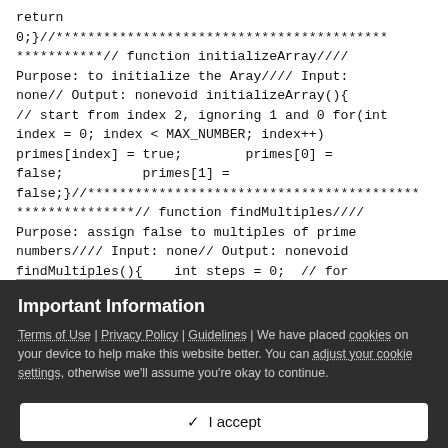return
0;}// function initializeArray////
Purpose: to initialize the Aray//// Input:
none// Output: nonevoid initializeArray(){
// start from index 2, ignoring 1 and 0 for(int
index = 0; index < MAX_NUMBER; index++)
primes[index] = true;        primes[0] =
false;        primes[1] =
false;}// function findMultiples////
*// function findMultiples////
Purpose: assign false to multiples of prime
numbers//// Input: none// Output: nonevoid
findMultiples(){    int steps = 0;  // for
Important Information
Terms of Use | Privacy Policy | Guidelines | We have placed cookies on your device to help make this website better. You can adjust your cookie settings, otherwise we'll assume you're okay to continue.
✓  I accept